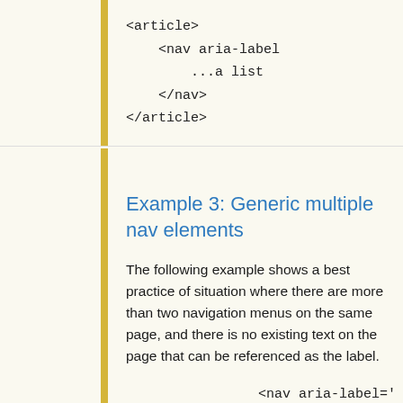[Figure (screenshot): Code block showing HTML: <article>, <nav aria-label..., ...a list, </nav>, </article>]
Example 3: Generic multiple nav elements
The following example shows a best practice of situation where there are more than two navigation menus on the same page, and there is no existing text on the page that can be referenced as the label.
[Figure (screenshot): Code block showing HTML: <nav aria-label='..., <a href='...]